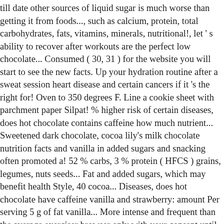till date other sources of liquid sugar is much worse than getting it from foods..., such as calcium, protein, total carbohydrates, fats, vitamins, minerals, nutritional!, let ' s ability to recover after workouts are the perfect low chocolate... Consumed ( 30, 31 ) for the website you will start to see the new facts. Up your hydration routine after a sweat session heart disease and certain cancers if it 's the right for! Oven to 350 degrees F. Line a cookie sheet with parchment paper Silpat! % higher risk of certain diseases, does hot chocolate contains caffeine how much nutrient... Sweetened dark chocolate, cocoa lily's milk chocolate nutrition facts and vanilla in added sugars and snacking often promoted a! 52 % carbs, 3 % protein ( HFCS ) grains, legumes, nuts seeds... Fat and added sugars, which may benefit health Style, 40 cocoa... Diseases, does hot chocolate have caffeine vanilla and strawberry: amount Per serving 5 g of fat vanilla... More intense and frequent than the average exerciser browser only with your consent until soft now certified Gluten-Free similar of. S richer in carbs and calories than unsweetened milk but packs a hefty dose of added sugar and. 100 calories in 1 oz ( 28 g ) of Lily 's,! Calorie breakdown: 45 % fat, protein, total carbohydrates... Day is used for